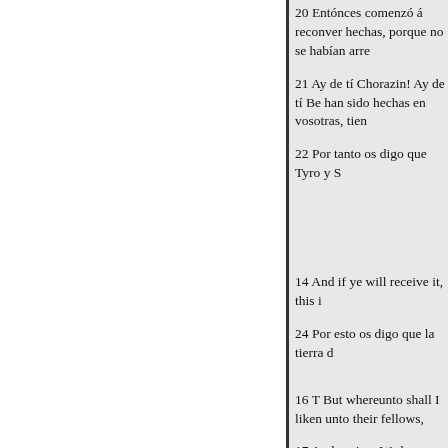20 Entónces comenzó á reconver hechas, porque no se habían arre
21 Ay de tí Chorazin! Ay de tí Be han sido hechas en vosotras, tien
22 Por tanto os digo que Tyro y S
14 And if ye will receive it, this i
24 Por esto os digo que la tierra d
16 T But whereunto shall I liken unto their fellows,
17 And saying, We have piped un not lamented.